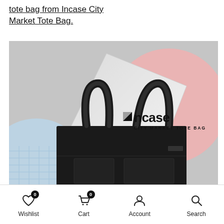tote bag from Incase City Market Tote Bag.
[Figure (photo): Product photo of the Incase City Market Tote Bag — a black tote bag with a MacBook laptop partially inserted, set against a light grey background with pink and light blue/grid circles. The Incase City Market Tote Bag logo is displayed in the upper right area of the image.]
Wishlist 0  Cart 0  Account  Search